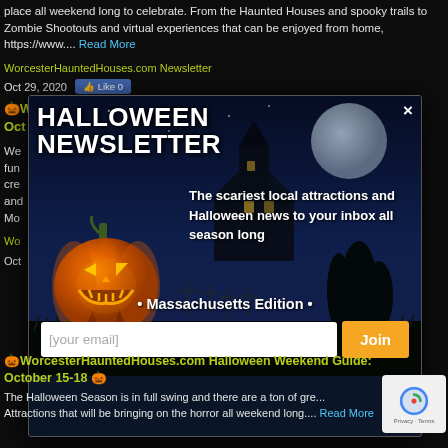place all weekend long to celebrate. From the Haunted Houses and spooky trails to Zombie Shootouts and virtual experiences that can be enjoyed from home, https://www.... Read More
WorcesterHauntedHouses.com Newsletter
Oct 29, 2020
[Figure (screenshot): Halloween Newsletter modal popup with dark night sky background, glowing jack-o-lantern pumpkin on left, haunted house silhouette, cemetery crosses, and full moon. Title reads HALLOWEEN NEWSLETTER with X close button. Body text: The scariest local attractions and Halloween news to your inbox all season long. Massachusetts Edition. Email input field with Join button.]
🎃WorcesterHauntedHouses.com Halloween Weekend Guide: October 15-18 🎃
The Halloween Season is in full swing and there are a ton of great Attractions that will be bringing on the horror all weekend long.... Read More